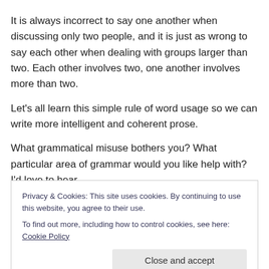It is always incorrect to say one another when discussing only two people, and it is just as wrong to say each other when dealing with groups larger than two. Each other involves two, one another involves more than two.
Let’s all learn this simple rule of word usage so we can write more intelligent and coherent prose.
What grammatical misuse bothers you? What particular area of grammar would you like help with? I’d love to hear
Privacy & Cookies: This site uses cookies. By continuing to use this website, you agree to their use.
To find out more, including how to control cookies, see here: Cookie Policy
“About” tab above.